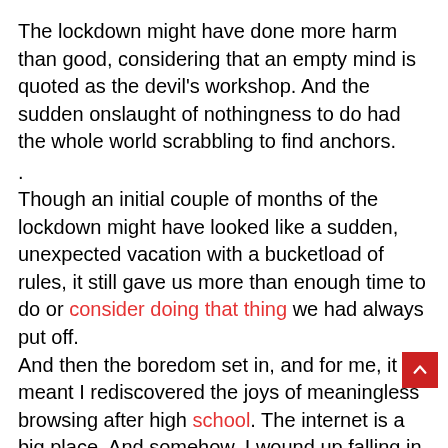The lockdown might have done more harm than good, considering that an empty mind is quoted as the devil’s workshop. And the sudden onslaught of nothingness to do had the whole world scrabbling to find anchors.
.
Though an initial couple of months of the lockdown might have looked like a sudden, unexpected vacation with a bucketload of rules, it still gave us more than enough time to do or consider doing that thing we had always put off.
And then the boredom set in, and for me, it meant I rediscovered the joys of meaningless browsing after high school. The internet is a big place. And somehow, I wound up falling in love with animal videos. Being somewhat of an introvert myself, both with humans and animals, it was quite